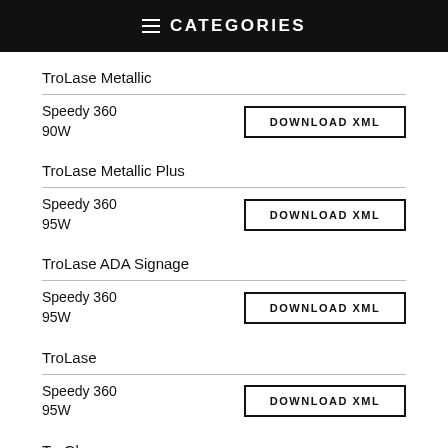CATEGORIES
TroLase Metallic
Speedy 360
90W
DOWNLOAD XML
TroLase Metallic Plus
Speedy 360
95W
DOWNLOAD XML
TroLase ADA Signage
Speedy 360
95W
DOWNLOAD XML
TroLase
Speedy 360
95W
DOWNLOAD XML
TroGlass
Speedy 360
95W
DOWNLOAD XML